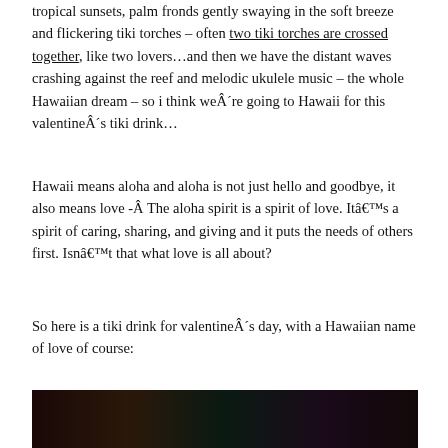tropical sunsets, palm fronds gently swaying in the soft breeze and flickering tiki torches – often two tiki torches are crossed together, like two lovers…and then we have the distant waves crashing against the reef and melodic ukulele music – the whole Hawaiian dream – so i think weÂ´re going to Hawaii for this valentineÂ´s tiki drink…
Hawaii means aloha and aloha is not just hello and goodbye, it also means love -Â The aloha spirit is a spirit of love. Itâ€™s a spirit of caring, sharing, and giving and it puts the needs of others first. Isnâ€™t that what love is all about?
So here is a tiki drink for valentineÂ´s day, with a Hawaiian name of love of course:
Ma'ane'i No Ke Aloha ~ For love is here and now
[Figure (photo): Bottom portion of a dark photo showing a tiki drink with tropical elements]